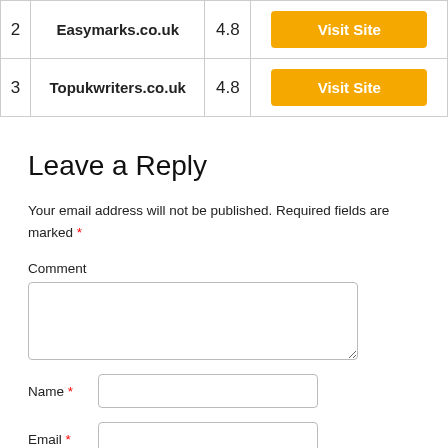| # | Name | Score | Action |
| --- | --- | --- | --- |
| 2 | Easymarks.co.uk | 4.8 | Visit Site |
| 3 | Topukwriters.co.uk | 4.8 | Visit Site |
Leave a Reply
Your email address will not be published. Required fields are marked *
Comment
Name *
Email *